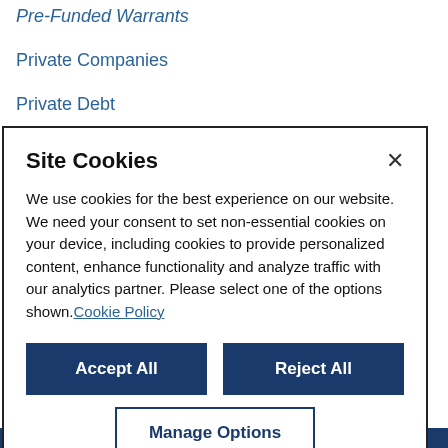Pre-Funded Warrants
Private Companies
Private Debt
Private Equity
Site Cookies
We use cookies for the best experience on our website. We need your consent to set non-essential cookies on your device, including cookies to provide personalized content, enhance functionality and analyze traffic with our analytics partner. Please select one of the options shown. Cookie Policy
[Accept All] [Reject All]
[Manage Options]